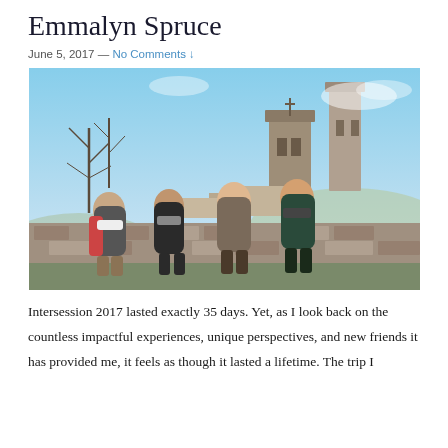Emmalyn Spruce
June 5, 2017 — No Comments ↓
[Figure (photo): Four young women sitting on a stone wall in front of medieval stone towers, smiling and posing together in winter clothing. Blue sky and leafless trees visible in the background.]
Intersession 2017 lasted exactly 35 days. Yet, as I look back on the countless impactful experiences, unique perspectives, and new friends it has provided me, it feels as though it lasted a lifetime. The trip I